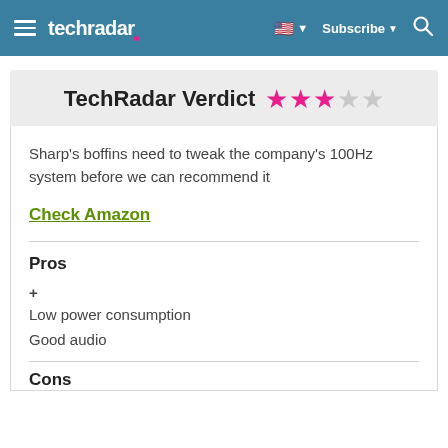techradar  Subscribe
TechRadar Verdict ★★★☆☆
Sharp's boffins need to tweak the company's 100Hz system before we can recommend it
Check Amazon
Pros
+ Low power consumption
Good audio
Cons